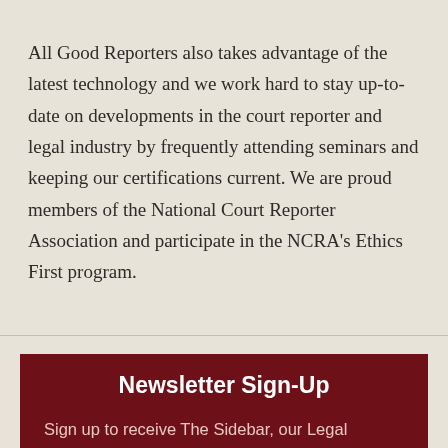All Good Reporters also takes advantage of the latest technology and we work hard to stay up-to-date on developments in the court reporter and legal industry by frequently attending seminars and keeping our certifications current. We are proud members of the National Court Reporter Association and participate in the NCRA's Ethics First program.
Newsletter Sign-Up
Sign up to receive The Sidebar, our Legal Support Services